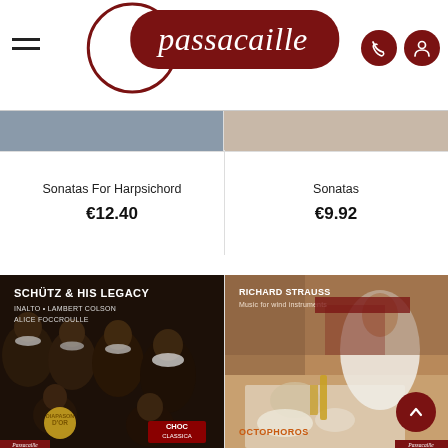[Figure (logo): Passacaille logo with dark red pill/circle design and italic serif text]
Sonatas For Harpsichord
€12.40
Sonatas
€9.92
[Figure (photo): Album cover: Schütz & His Legacy - InAlto, Lambert Colson, Alice Foccroulle. Dark painting of Renaissance men, with CHOC Classica badge and Diapason d'Or gold medal.]
[Figure (photo): Album cover: Richard Strauss - Music for wind instruments. Octophoros. Impressionist painting of woman dining.]